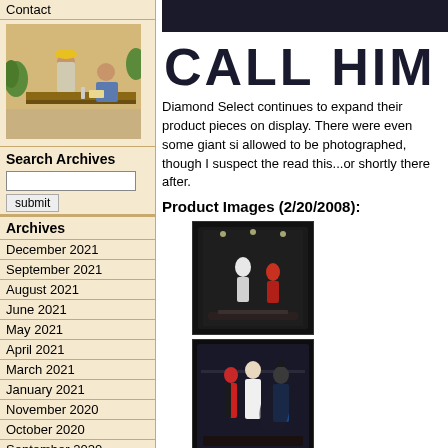Contact
[Figure (photo): Two men at a table, one wearing a yellow hard hat, in a meeting or convention setting with plants in the background]
Search Archives
Archives
December 2021
September 2021
August 2021
June 2021
May 2021
April 2021
March 2021
January 2021
November 2020
October 2020
September 2020
[Figure (photo): Partial banner image showing text CALL HIM SN in large bold letters on a white/black background]
Diamond Select continues to expand their product pieces on display. There were even some giant si allowed to be photographed, though I suspect the read this...or shortly there after.
Product Images (2/20/2008):
[Figure (photo): Display case with Diamond Select collectible figures in dark lighting, appears to show a white figure and other characters]
[Figure (photo): Display case showing Batman and other characters including what appears to be Harley Quinn in a showcase setting]